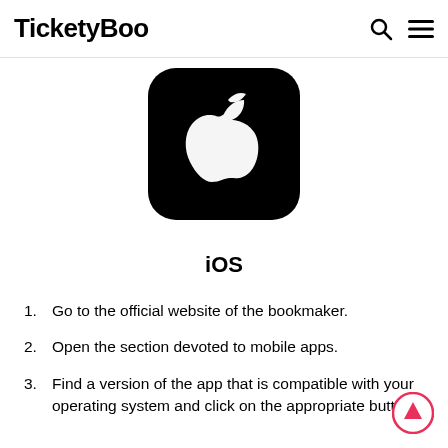TicketyBoo
[Figure (logo): Apple iOS app store icon — black rounded rectangle with white Apple logo]
iOS
Go to the official website of the bookmaker.
Open the section devoted to mobile apps.
Find a version of the app that is compatible with your operating system and click on the appropriate button.